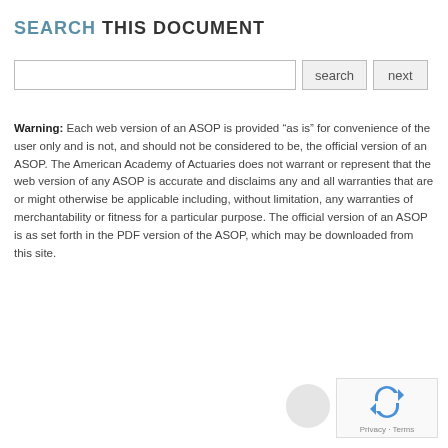SEARCH THIS DOCUMENT
Warning: Each web version of an ASOP is provided “as is” for convenience of the user only and is not, and should not be considered to be, the official version of an ASOP. The American Academy of Actuaries does not warrant or represent that the web version of any ASOP is accurate and disclaims any and all warranties that are or might otherwise be applicable including, without limitation, any warranties of merchantability or fitness for a particular purpose. The official version of an ASOP is as set forth in the PDF version of the ASOP, which may be downloaded from this site.